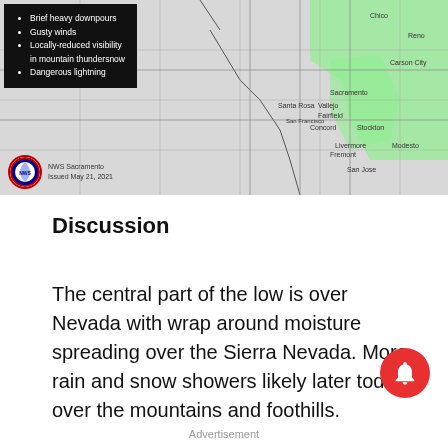[Figure (map): NWS Sacramento weather map showing California/Nevada region with green highlighted areas indicating weather alerts. Black box overlay lists: Brief heavy downpours, Gusty winds, Locally-reduced visibility in mountain thundersnow, Dangerous lightning. NWS logo with 'NWS Sacramento, Issued May 21, 2021' at bottom left.]
Discussion
The central part of the low is over Nevada with wrap around moisture spreading over the Sierra Nevada. More rain and snow showers likely later today over the mountains and foothills.
Advertisement